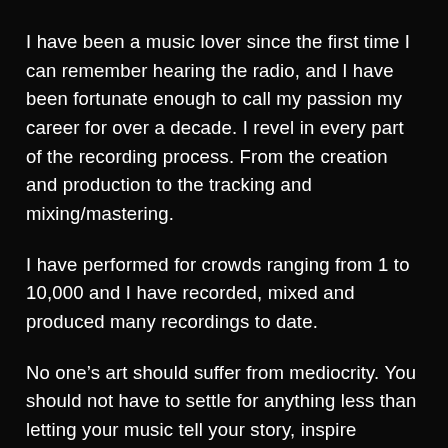I have been a music lover since the first time I can remember hearing the radio, and I have been fortunate enough to call my passion my career for over a decade. I revel in every part of the recording process. From the creation and production to the tracking and mixing/mastering.
I have performed for crowds ranging from 1 to 10,000 and I have recorded, mixed and produced many recordings to date.
No one’s art should suffer from mediocrity. You should not have to settle for anything less than letting your music tell your story, inspire people, and sparkle!